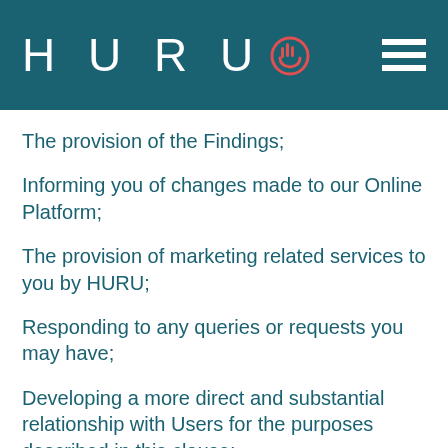HURU
The provision of the Findings;
Informing you of changes made to our Online Platform;
The provision of marketing related services to you by HURU;
Responding to any queries or requests you may have;
Developing a more direct and substantial relationship with Users for the purposes described in this clause;
Developing an online user profile;
Understanding general user trends and patterns so that we can develop and support existing and ongoing marketing strategies;